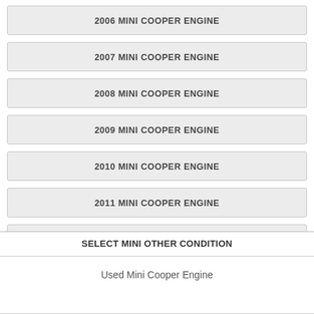2006 MINI COOPER ENGINE
2007 MINI COOPER ENGINE
2008 MINI COOPER ENGINE
2009 MINI COOPER ENGINE
2010 MINI COOPER ENGINE
2011 MINI COOPER ENGINE
2012 MINI COOPER ENGINE
SELECT MINI OTHER CONDITION
Used Mini Cooper Engine